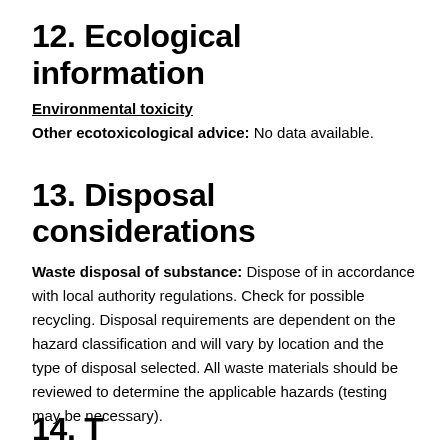12. Ecological information
Environmental toxicity
Other ecotoxicological advice: No data available.
13. Disposal considerations
Waste disposal of substance: Dispose of in accordance with local authority regulations. Check for possible recycling. Disposal requirements are dependent on the hazard classification and will vary by location and the type of disposal selected. All waste materials should be reviewed to determine the applicable hazards (testing may be necessary).
14. Transport information